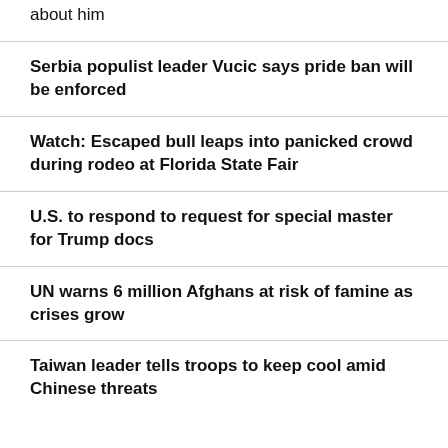about him
Serbia populist leader Vucic says pride ban will be enforced
Watch: Escaped bull leaps into panicked crowd during rodeo at Florida State Fair
U.S. to respond to request for special master for Trump docs
UN warns 6 million Afghans at risk of famine as crises grow
Taiwan leader tells troops to keep cool amid Chinese threats